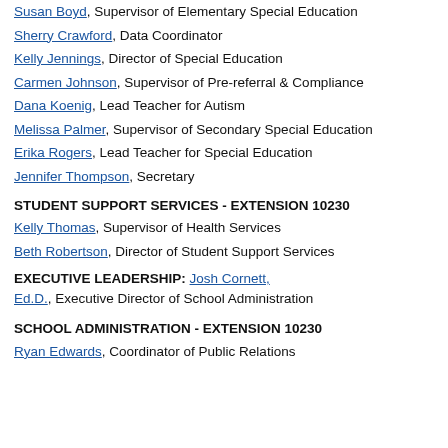Susan Boyd, Supervisor of Elementary Special Education
Sherry Crawford, Data Coordinator
Kelly Jennings, Director of Special Education
Carmen Johnson, Supervisor of Pre-referral & Compliance
Dana Koenig, Lead Teacher for Autism
Melissa Palmer, Supervisor of Secondary Special Education
Erika Rogers, Lead Teacher for Special Education
Jennifer Thompson, Secretary
STUDENT SUPPORT SERVICES - EXTENSION 10230
Kelly Thomas, Supervisor of Health Services
Beth Robertson, Director of Student Support Services
EXECUTIVE LEADERSHIP: Josh Cornett, Ed.D., Executive Director of School Administration
SCHOOL ADMINISTRATION - EXTENSION 10230
Ryan Edwards, Coordinator of Public Relations